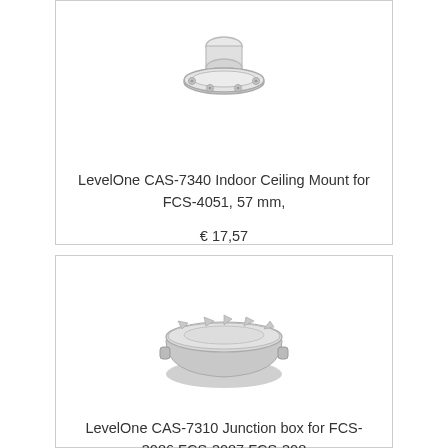[Figure (photo): LevelOne CAS-7340 Indoor Ceiling Mount hardware product photo showing a white cylindrical ceiling mount bracket with flange plate]
LevelOne CAS-7340 Indoor Ceiling Mount for FCS-4051, 57 mm,
€ 17,57
[Figure (photo): LevelOne CAS-7310 Junction box product photo showing a circular grey junction box]
LevelOne CAS-7310 Junction box for FCS-3086 FCS-3087 FCS-308